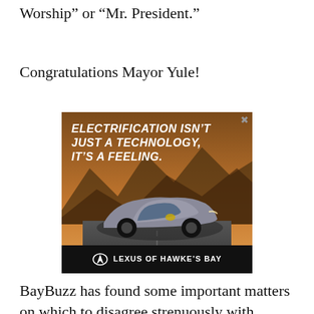Worship" or "Mr. President."
Congratulations Mayor Yule!
[Figure (photo): Lexus advertisement showing a silver futuristic Lexus concept car on a road with mountains in background. Text reads: ELECTRIFICATION ISN'T JUST A TECHNOLOGY, IT'S A FEELING. Lexus of Hawke's Bay logo at bottom.]
BayBuzz has found some important matters on which to disagree strenuously with